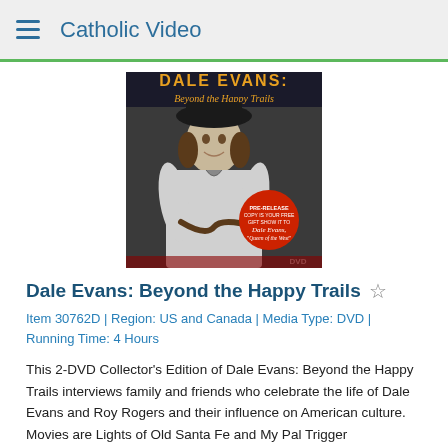Catholic Video
[Figure (photo): DVD cover for Dale Evans: Beyond the Happy Trails showing a woman in a cowboy hat smiling, with gold stars on dark background and a circular red promotional sticker]
Dale Evans: Beyond the Happy Trails ☆
Item 30762D | Region: US and Canada | Media Type: DVD | Running Time: 4 Hours
This 2-DVD Collector's Edition of Dale Evans: Beyond the Happy Trails interviews family and friends who celebrate the life of Dale Evans and Roy Rogers and their influence on American culture. Movies are Lights of Old Santa Fe and My Pal Trigger